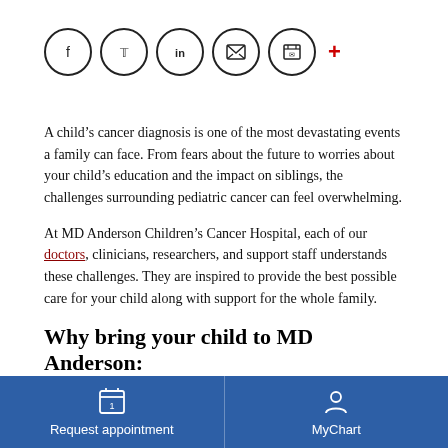[Figure (other): Social media share icons: Facebook, Twitter, LinkedIn, Email, Print circles, and a red plus sign]
A child's cancer diagnosis is one of the most devastating events a family can face. From fears about the future to worries about your child's education and the impact on siblings, the challenges surrounding pediatric cancer can feel overwhelming.
At MD Anderson Children's Cancer Hospital, each of our doctors, clinicians, researchers, and support staff understands these challenges. They are inspired to provide the best possible care for your child along with support for the whole family.
Why bring your child to MD Anderson:
Patients are treated by a multidisciplinary team of experts.
Request appointment | MyChart